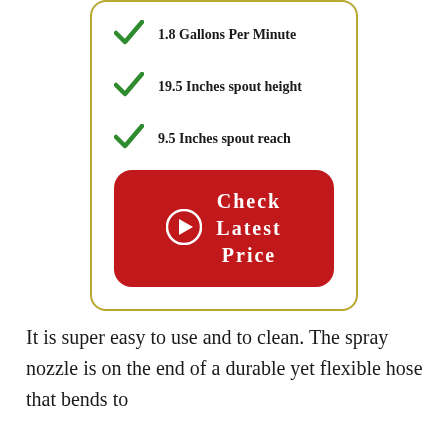1.8 Gallons Per Minute
19.5 Inches spout height
9.5 Inches spout reach
[Figure (other): Red rounded button with arrow icon and text 'Check Latest Price']
It is super easy to use and to clean. The spray nozzle is on the end of a durable yet flexible hose that bends to